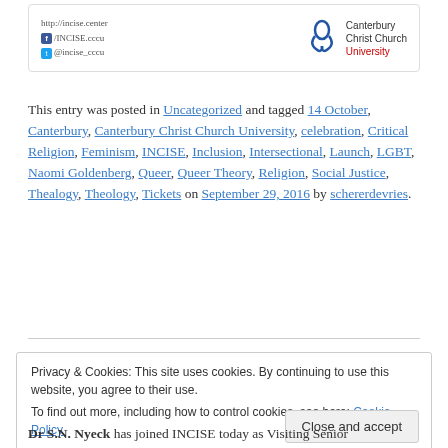http://incise.center | /INCISE.cccu | @incise_cccu | Canterbury Christ Church University
This entry was posted in Uncategorized and tagged 14 October, Canterbury, Canterbury Christ Church University, celebration, Critical Religion, Feminism, INCISE, Inclusion, Intersectional, Launch, LGBT, Naomi Goldenberg, Queer, Queer Theory, Religion, Social Justice, Thealogy, Theology, Tickets on September 29, 2016 by schererdevries.
Privacy & Cookies: This site uses cookies. By continuing to use this website, you agree to their use.
To find out more, including how to control cookies, see here: Cookie Policy
Dr S.N. Nyeck has joined INCISE today as Visiting Senior